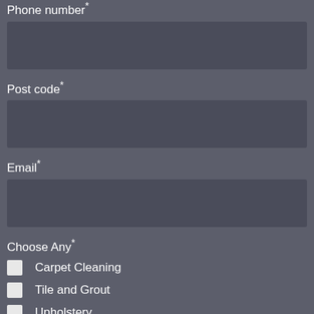Phone number*
(input box)
Post code*
(input box)
Email*
(input box)
Choose Any*
Carpet Cleaning
Tile and Grout
Upholstery
Leather
Job Requirements*
(input box)